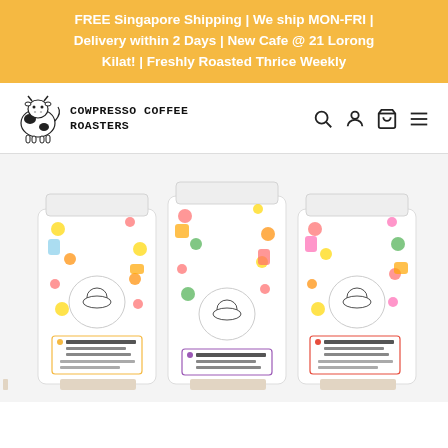FREE Singapore Shipping | We ship MON-FRI | Delivery within 2 Days | New Cafe @ 21 Lorong Kilat! | Freshly Roasted Thrice Weekly
[Figure (logo): Cowpresso Coffee Roasters logo with a stylized cow illustration and bold text 'COWPRESSO COFFEE ROASTERS' plus navigation icons (search, account, cart, menu)]
[Figure (photo): Three white coffee bags with colorful food/fruit illustrated packaging designs from Cowpresso Coffee Roasters: 'Joey Stout Blend', 'Congo Arabica 100', and 'Ethiopian Yirgalem Blend']